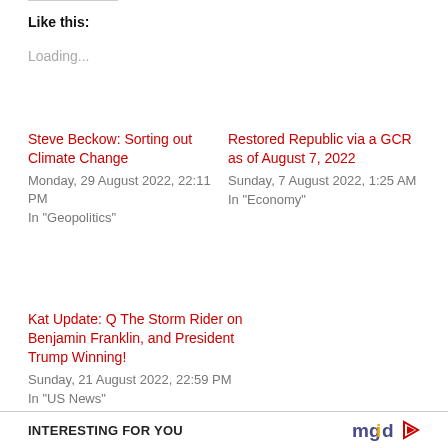Like this:
Loading...
Steve Beckow: Sorting out Climate Change
Monday, 29 August 2022, 22:11 PM
In "Geopolitics"
Restored Republic via a GCR as of August 7, 2022
Sunday, 7 August 2022, 1:25 AM
In "Economy"
Kat Update: Q The Storm Rider on Benjamin Franklin, and President Trump Winning!
Sunday, 21 August 2022, 22:59 PM
In "US News"
INTERESTING FOR YOU
[Figure (logo): mgid logo with play button icon]